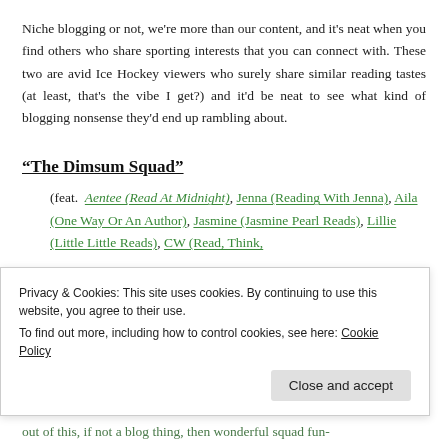Niche blogging or not, we're more than our content, and it's neat when you find others who share sporting interests that you can connect with. These two are avid Ice Hockey viewers who surely share similar reading tastes (at least, that's the vibe I get?) and it'd be neat to see what kind of blogging nonsense they'd end up rambling about.
“The Dimsum Squad”
(feat. Aentee (Read At Midnight), Jenna (Reading With Jenna), Aila (One Way Or An Author), Jasmine (Jasmine Pearl Reads), Lillie (Little Little Reads), CW (Read, Think,
Privacy & Cookies: This site uses cookies. By continuing to use this website, you agree to their use.
To find out more, including how to control cookies, see here: Cookie Policy
out of this, if not a blog thing, then wonderful squad fun-